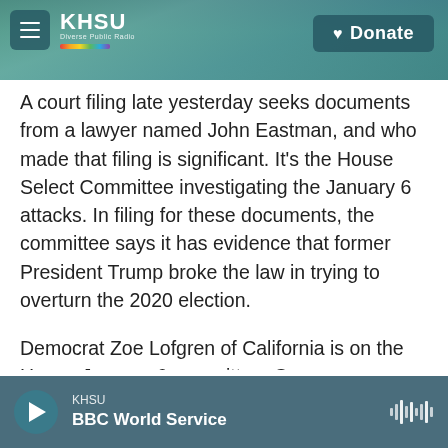KHSU — Diverse Public Radio · Donate
A court filing late yesterday seeks documents from a lawyer named John Eastman, and who made that filing is significant. It's the House Select Committee investigating the January 6 attacks. In filing for these documents, the committee says it has evidence that former President Trump broke the law in trying to overturn the 2020 election.
Democrat Zoe Lofgren of California is on the House January 6 committee. Congressman Lofgren, thanks for making time.
KHSU — BBC World Service